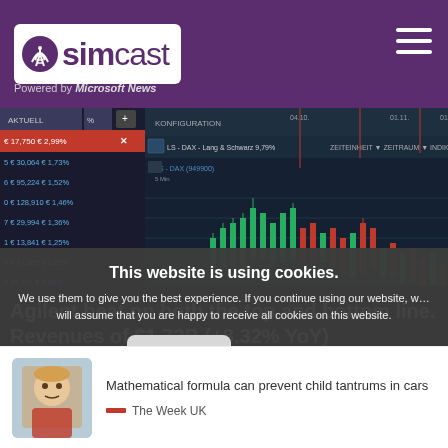simcast — Powered by Microsoft News
[Figure (screenshot): Stock trading platform screenshot showing candlestick chart with DAX data and price ticker on left side. Green and red candlesticks visible. Text overlay: Agilent beat on both the top and bottom line. Revenues of $1.72B (+8.32% YoY) exceeded consensus of $1.64B(+5.02%).]
This website is using cookies. We use them to give you the best experience. If you continue using our website, we will assume that you are happy to receive all cookies on this website.
Continue   Learn more
Mathematical formula can prevent child tantrums in cars
The Week UK